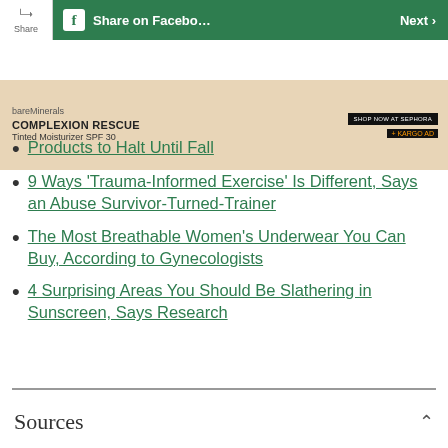[Figure (screenshot): Top navigation bar with share button, Facebook share button, and Next button on green background]
[Figure (screenshot): bareMinerals Complexion Rescue Tinted Moisturizer SPF 30 advertisement banner with product image and SHOP NOW AT SEPHORA button]
Products to Halt Until Fall
9 Ways 'Trauma-Informed Exercise' Is Different, Says an Abuse Survivor-Turned-Trainer
The Most Breathable Women's Underwear You Can Buy, According to Gynecologists
4 Surprising Areas You Should Be Slathering in Sunscreen, Says Research
Sources